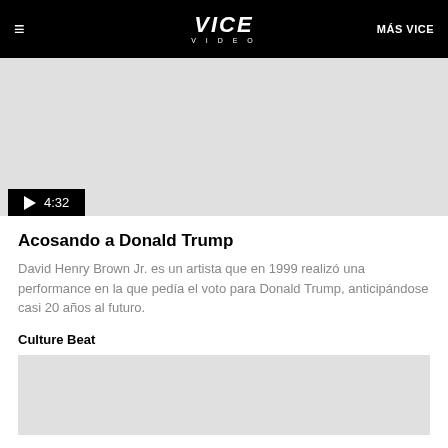≡  VICE VIDEO  MÁS VICE
[Figure (screenshot): Video thumbnail placeholder — grey rectangle with play button and duration 4:32]
Acosando a Donald Trump
David Henry Brown Jr. es un artista que en 1999 realizó una performance en la que pedía el voto para Donald Trump, anticipándose casi 20 años al futuro.
Culture Beat
[Figure (screenshot): Second video thumbnail placeholder — grey rectangle, partially visible]